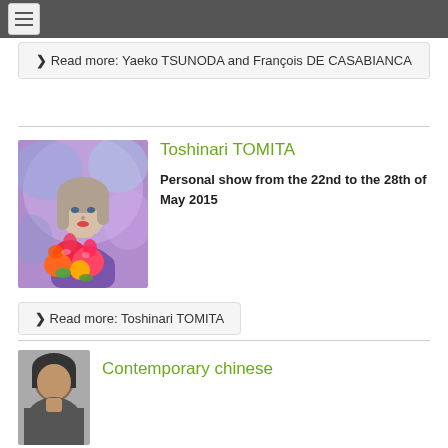≡ (navigation menu)
❯ Read more: Yaeko TSUNODA and François DE CASABIANCA
[Figure (illustration): Painting of a girl with long hair holding red flowers, colorful purple-blue background]
Toshinari TOMITA
Personal show from the 22nd to the 28th of May 2015
❯ Read more: Toshinari TOMITA
[Figure (photo): Partial photo of a person, head visible from bottom of page]
Contemporary chinese